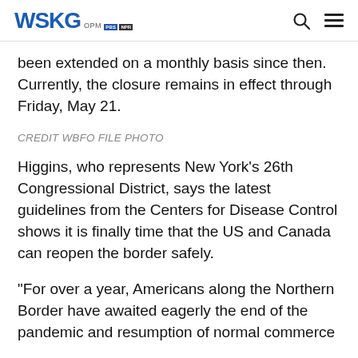WSKG OPM NPR
been extended on a monthly basis since then. Currently, the closure remains in effect through Friday, May 21.
CREDIT WBFO FILE PHOTO
Higgins, who represents New York’s 26th Congressional District, says the latest guidelines from the Centers for Disease Control shows it is finally time that the US and Canada can reopen the border safely.
“For over a year, Americans along the Northern Border have awaited eagerly the end of the pandemic and resumption of normal commerce